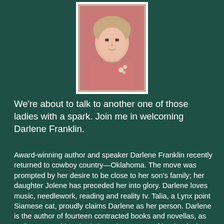[Figure (photo): Headshot photo of a woman in a pink top with floral detail, white border frame]
We're about to talk to another one of those ladies with a spark. Join me in welcoming Darlene Franklin.
Award-winning author and speaker Darlene Franklin recently returned to cowboy country—Oklahoma. The move was prompted by her desire to be close to her son's family; her daughter Jolene has preceded her into glory. Darlene loves music, needlework, reading and reality tv. Talia, a Lynx point Siamese cat, proudly claims Darlene as her person. Darlene is the author of fourteen contracted books and novellas, as well as several hundred short pieces. Two of her books have finaled in ACFW's Book of the Year (now the Carol award) contest: her novella, Dressed in Scarlet, and her cozy mystery, A String of Murders. Visit Darlene's blog at http://darlenefranklinwrites.blogspot.com/  for information on book giveaways and upcoming titles. She is also a contributor to...